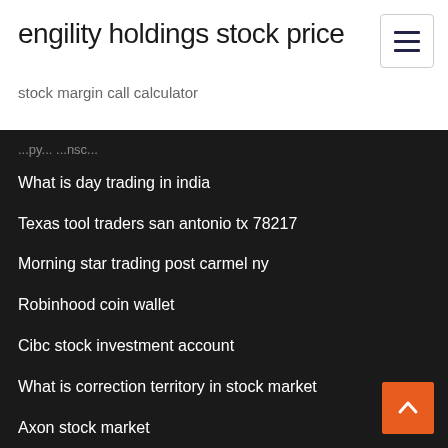engility holdings stock price
stock margin call calculator
What is day trading in india
Texas tool traders san antonio tx 78217
Morning star trading post carmel ny
Robinhood coin wallet
Cibc stock investment account
What is correction territory in stock market
Axon stock market
Lfgr stock price
How much money is good to invest in stocks
What time does stock market close on christmas eve